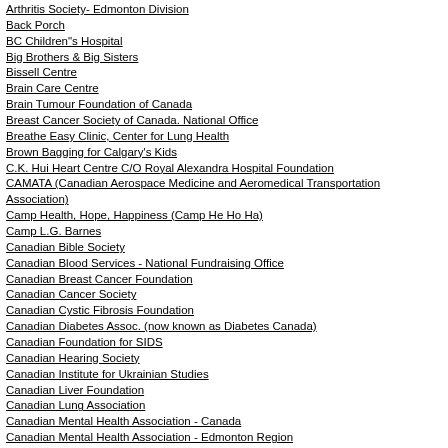Arthritis Society- Edmonton Division
Back Porch
BC Children"s Hospital
Big Brothers & Big Sisters
Bissell Centre
Brain Care Centre
Brain Tumour Foundation of Canada
Breast Cancer Society of Canada. National Office
Breathe Easy Clinic, Center for Lung Health
Brown Bagging for Calgary's Kids
C.K. Hui Heart Centre C/O Royal Alexandra Hospital Foundation
CAMATA (Canadian Aerospace Medicine and Aeromedical Transportation Association)
Camp Health, Hope, Happiness (Camp He Ho Ha)
Camp L.G. Barnes
Canadian Bible Society
Canadian Blood Services - National Fundraising Office
Canadian Breast Cancer Foundation
Canadian Cancer Society
Canadian Cystic Fibrosis Foundation
Canadian Diabetes Assoc. (now known as Diabetes Canada)
Canadian Foundation for SIDS
Canadian Hearing Society
Canadian Institute for Ukrainian Studies
Canadian Liver Foundation
Canadian Lung Association
Canadian Mental Health Association - Canada
Canadian Mental Health Association - Edmonton Region